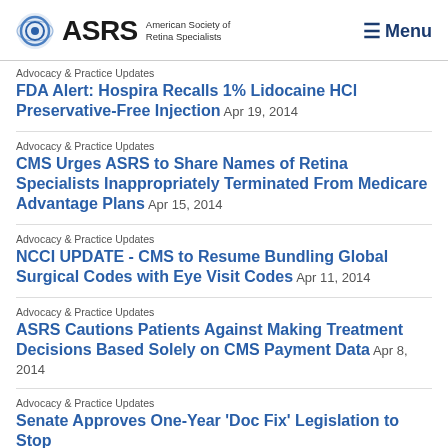ASRS American Society of Retina Specialists | Menu
Advocacy & Practice Updates
FDA Alert: Hospira Recalls 1% Lidocaine HCl Preservative-Free Injection Apr 19, 2014
Advocacy & Practice Updates
CMS Urges ASRS to Share Names of Retina Specialists Inappropriately Terminated From Medicare Advantage Plans Apr 15, 2014
Advocacy & Practice Updates
NCCI UPDATE - CMS to Resume Bundling Global Surgical Codes with Eye Visit Codes Apr 11, 2014
Advocacy & Practice Updates
ASRS Cautions Patients Against Making Treatment Decisions Based Solely on CMS Payment Data Apr 8, 2014
Advocacy & Practice Updates
Senate Approves One-Year 'Doc Fix' Legislation to Stop